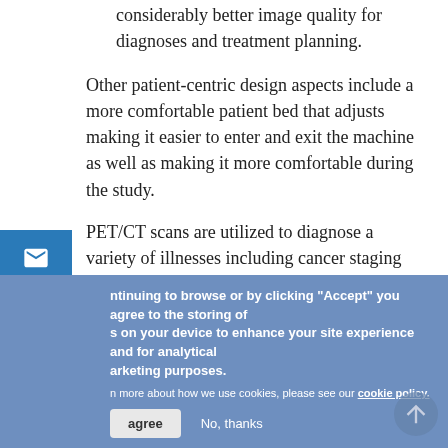considerably better image quality for diagnoses and treatment planning.
Other patient-centric design aspects include a more comfortable patient bed that adjusts making it easier to enter and exit the machine as well as making it more comfortable during the study.
PET/CT scans are utilized to diagnose a variety of illnesses including cancer staging and neurodegenerative diseases such as Alzheimer's and dementia. SDMI will be scheduling patients on this new scanner beginning September 2020.
For more information: www.sdmi-lv.com
By continuing to browse or by clicking "Accept" you agree to the storing of cookies on your device to enhance your site experience and for analytical and marketing purposes.
To learn more about how we use cookies, please see our cookie policy.